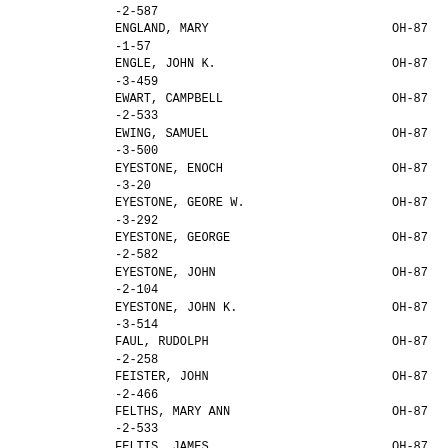-2-587
ENGLAND, MARY    OH-87
-1-57
ENGLE, JOHN K.    OH-87
-3-459
EWART, CAMPBELL    OH-87
-2-533
EWING, SAMUEL    OH-87
-3-500
EYESTONE, ENOCH    OH-87
-3-20
EYESTONE, GEORE W.    OH-87
-3-292
EYESTONE, GEORGE    OH-87
-2-582
EYESTONE, JOHN    OH-87
-2-104
EYESTONE, JOHN K.    OH-87
-3-514
FAUL, RUDOLPH    OH-87
-2-258
FEISTER, JOHN    OH-87
-2-466
FELTHS, MARY ANN    OH-87
-2-533
FELTIS, JAMES    OH-87
-2-33
FERNBAUGH, ELIZABETH    OH-87
-3-501
FISHEL, DANIEL    OH-87